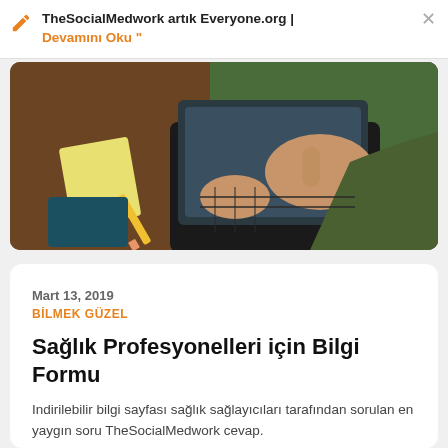TheSocialMedwork artık Everyone.org | Devamını Oku "
[Figure (illustration): Illustrated person working on a laptop at a desk with papers and a pencil, viewed from above. Brown desk, green/teal background, hands visible on keyboard.]
Mart 13, 2019
BİLMEK GÜZEL
Sağlık Profesyonelleri için Bilgi Formu
Indirilebilir bilgi sayfası sağlık sağlayıcıları tarafından sorulan en yaygın soru TheSocialMedwork cevap.